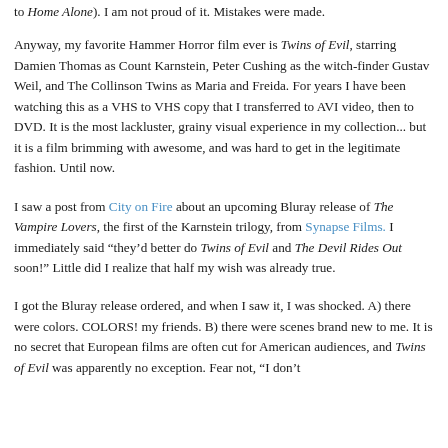to Home Alone). I am not proud of it. Mistakes were made.
Anyway, my favorite Hammer Horror film ever is Twins of Evil, starring Damien Thomas as Count Karnstein, Peter Cushing as the witch-finder Gustav Weil, and The Collinson Twins as Maria and Freida. For years I have been watching this as a VHS to VHS copy that I transferred to AVI video, then to DVD. It is the most lackluster, grainy visual experience in my collection... but it is a film brimming with awesome, and was hard to get in the legitimate fashion. Until now.
I saw a post from City on Fire about an upcoming Bluray release of The Vampire Lovers, the first of the Karnstein trilogy, from Synapse Films. I immediately said "they'd better do Twins of Evil and The Devil Rides Out soon!" Little did I realize that half my wish was already true.
I got the Bluray release ordered, and when I saw it, I was shocked. A) there were colors. COLORS! my friends. B) there were scenes brand new to me. It is no secret that European films are often cut for American audiences, and Twins of Evil was apparently no exception. Fear not, "I don't